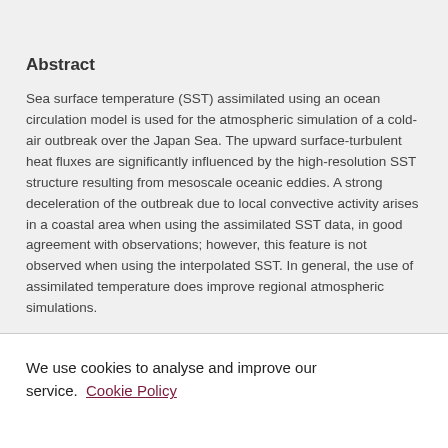Abstract
Sea surface temperature (SST) assimilated using an ocean circulation model is used for the atmospheric simulation of a cold-air outbreak over the Japan Sea. The upward surface-turbulent heat fluxes are significantly influenced by the high-resolution SST structure resulting from mesoscale oceanic eddies. A strong deceleration of the outbreak due to local convective activity arises in a coastal area when using the assimilated SST data, in good agreement with observations; however, this feature is not observed when using the interpolated SST. In general, the use of assimilated temperature does improve regional atmospheric simulations.
We use cookies to analyse and improve our service. Cookie Policy